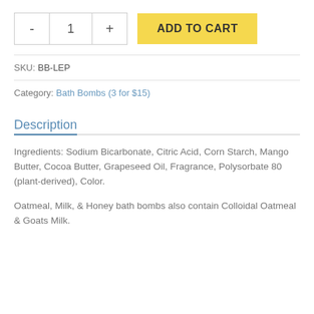- 1 + ADD TO CART
SKU: BB-LEP
Category: Bath Bombs (3 for $15)
Description
Ingredients: Sodium Bicarbonate, Citric Acid, Corn Starch, Mango Butter, Cocoa Butter, Grapeseed Oil, Fragrance, Polysorbate 80 (plant-derived), Color.
Oatmeal, Milk, & Honey bath bombs also contain Colloidal Oatmeal & Goats Milk.